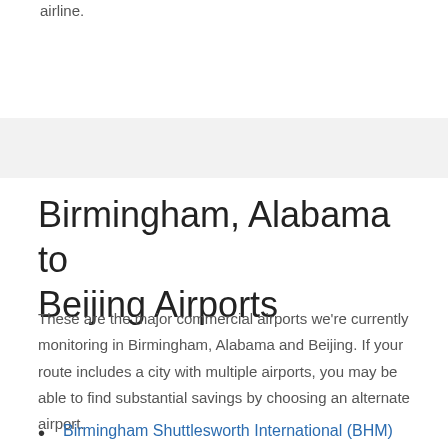airline.
Birmingham, Alabama to Beijing Airports
These are the major commercial airports we're currently monitoring in Birmingham, Alabama and Beijing. If your route includes a city with multiple airports, you may be able to find substantial savings by choosing an alternate airport.
Birmingham Shuttlesworth International (BHM)